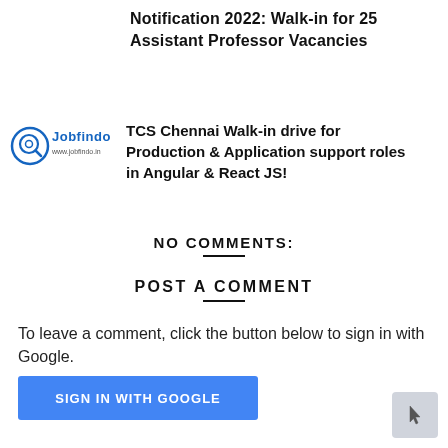Notification 2022: Walk-in for 25 Assistant Professor Vacancies
[Figure (logo): Jobfindo logo with circular icon and text 'Jobfindo www.jobfindo.in']
TCS Chennai Walk-in drive for Production & Application support roles in Angular & React JS!
NO COMMENTS:
POST A COMMENT
To leave a comment, click the button below to sign in with Google.
[Figure (other): Blue button labeled SIGN IN WITH GOOGLE]